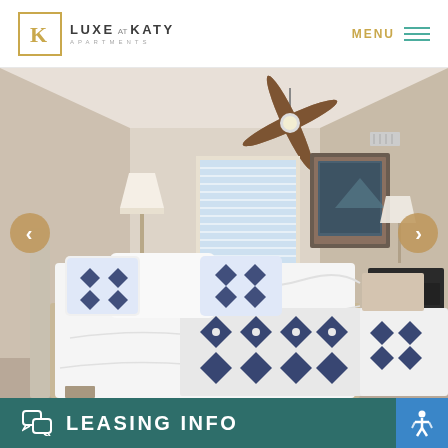[Figure (logo): Luxe at Katy Apartments logo — square bracket K icon in gold, with LUXE AT KATY text and APARTMENTS subtitle]
MENU
[Figure (photo): Interior bedroom photo of an apartment at Luxe at Katy. Room features a ceiling fan, two beds with white and navy blue ikat patterned bedding, white pillows, a framed artwork on the wall, window with blinds, bedside lamps, a white dresser, and a black chest of drawers.]
LEASING INFO